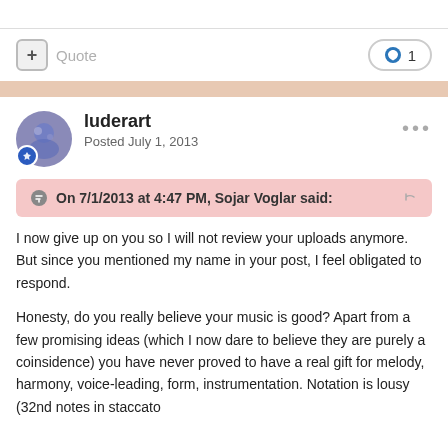+ Quote
♥ 1
luderart
Posted July 1, 2013
On 7/1/2013 at 4:47 PM, Sojar Voglar said:
I now give up on you so I will not review your uploads anymore. But since you mentioned my name in your post, I feel obligated to respond.

Honesty, do you really believe your music is good? Apart from a few promising ideas (which I now dare to believe they are purely a coinsidence) you have never proved to have a real gift for melody, harmony, voice-leading, form, instrumentation. Notation is lousy (32nd notes in staccato